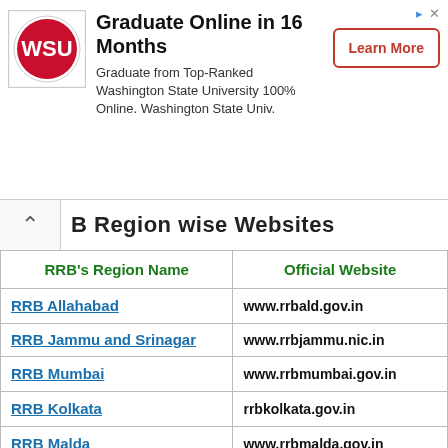[Figure (screenshot): Advertisement banner for Washington State University - Graduate Online in 16 Months]
B Region wise Websites
| RRB's Region Name | Official Website |
| --- | --- |
| RRB Allahabad | www.rrbald.gov.in |
| RRB Jammu and Srinagar | www.rrbjammu.nic.in |
| RRB Mumbai | www.rrbmumbai.gov.in |
| RRB Kolkata | rrbkolkata.gov.in |
| RRB Malda | www.rrbmalda.gov.in |
| RRB Secunderabad | rrbsecunderabad.nic.in |